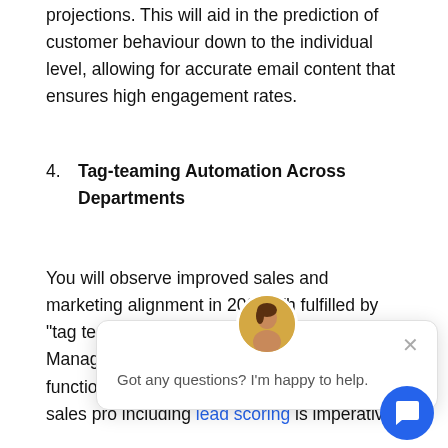business forecasts and other important projections. This will aid in the prediction of customer behaviour down to the individual level, allowing for accurate email content that ensures high engagement rates.
4. Tag-teaming Automation Across Departments
You will observe improved sales and marketing alignment in 2022. Th... fulfilled by "tag teams"... Only with the proper C... Management system integration can this function. To link marketing activities with the sales pro... including lead scoring is imperative.
[Figure (screenshot): A chat popup overlay showing a female avatar, a close button (×), and the message 'Got any questions? I'm happy to help.' with a blue circular chat button in the bottom right corner.]